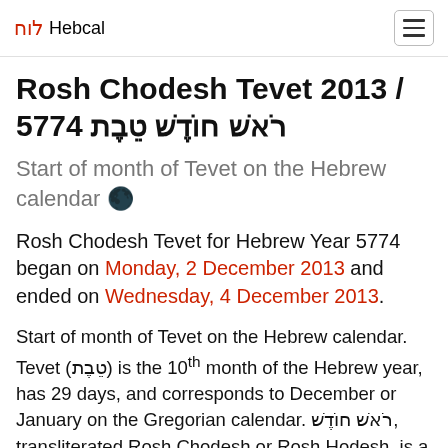לוח Hebcal
Rosh Chodesh Tevet 2013 / 5774 רֹאשׁ חוֹדֶשׁ טֵבֶת
Start of month of Tevet on the Hebrew calendar 🌑
Rosh Chodesh Tevet for Hebrew Year 5774 began on Monday, 2 December 2013 and ended on Wednesday, 4 December 2013.
Start of month of Tevet on the Hebrew calendar. Tevet (טֵבֶת) is the 10th month of the Hebrew year, has 29 days, and corresponds to December or January on the Gregorian calendar. רֹאשׁ חוֹדֶשׁ, transliterated Rosh Chodesh or Rosh Hodesh, is a minor holiday that occurs at the beginning of every